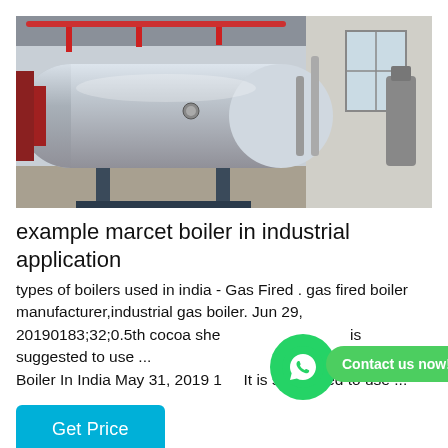[Figure (photo): Industrial gas fired boiler in a factory/plant setting. Large cylindrical steel boiler vessel with pipes and equipment visible in the background.]
example marcet boiler in industrial application
types of boilers used in india - Gas Fired . gas fired boiler manufacturer,industrial gas boiler. Jun 29, 20190183;32;0.5th cocoa shell office... Boiler In India May 31, 2019 183;It is suggested to use ...